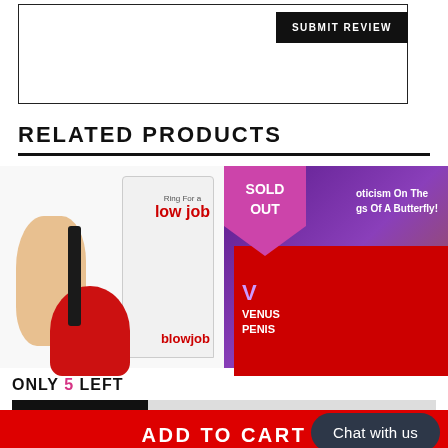[Figure (screenshot): Review text area box with Submit Review button]
RELATED PRODUCTS
[Figure (photo): Product image: Ring For Blowjob bell toy in packaging]
[Figure (photo): Product image: Venus Penis - Sold Out badge, purple packaging showing Eroticism On The Wings Of A Butterfly text with red box]
ONLY 5 LEFT
ADD TO CART
BUY IT NOW
Chat with us